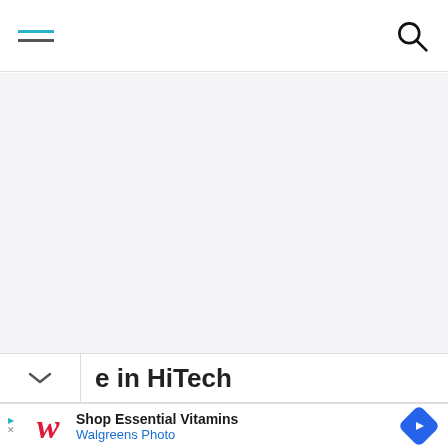[Figure (screenshot): Mobile website navigation bar with hamburger menu (teal and gray lines) on the left and search icon on the right]
[Figure (screenshot): Large blank/white-gray content area, likely an image that did not load]
e in HiTech
[Figure (screenshot): Advertisement banner: Walgreens logo, text 'Shop Essential Vitamins' and 'Walgreens Photo', blue navigation diamond icon on right, small play/close icons on left]